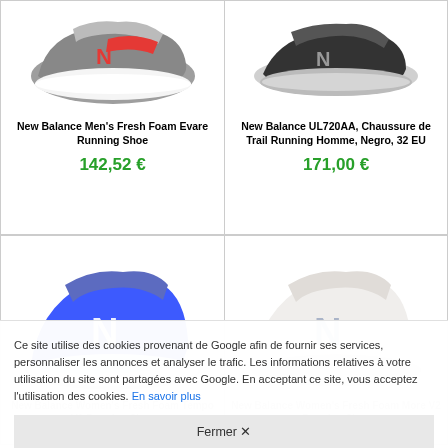[Figure (photo): New Balance Men's Fresh Foam Evare Running Shoe - grey/red sneaker]
New Balance Men's Fresh Foam Evare Running Shoe
142,52 €
[Figure (photo): New Balance UL720AA, Chaussure de Trail Running Homme, Negro, 32 EU - black sneaker]
New Balance UL720AA, Chaussure de Trail Running Homme, Negro, 32 EU
171,00 €
[Figure (photo): New Balance Women's Fresh Foam Tempo V1 Running Shoe - blue sneaker]
New Balance Women's Fresh Foam Tempo V1 Running Shoe
163,05 €
[Figure (photo): New Balance Women's Fresh Foam More V2 Running Shoe - white/grey sneaker]
New Balance Women's Fresh Foam More V2 Running Shoe
252,00 €
Ce site utilise des cookies provenant de Google afin de fournir ses services, personnaliser les annonces et analyser le trafic. Les informations relatives à votre utilisation du site sont partagées avec Google. En acceptant ce site, vous acceptez l'utilisation des cookies. En savoir plus
Fermer ✕